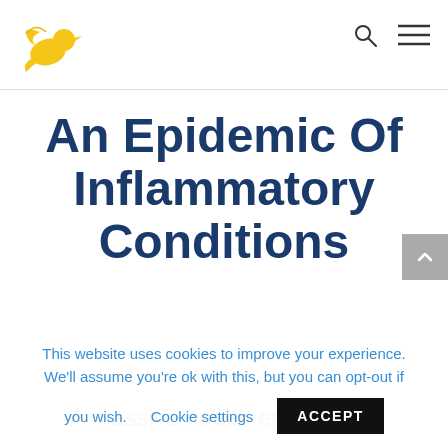Navigation bar with bird logo, search icon, and menu icon
An Epidemic Of Inflammatory Conditions
A massive health epidemic is
This website uses cookies to improve your experience. We'll assume you're ok with this, but you can opt-out if you wish. Cookie settings ACCEPT